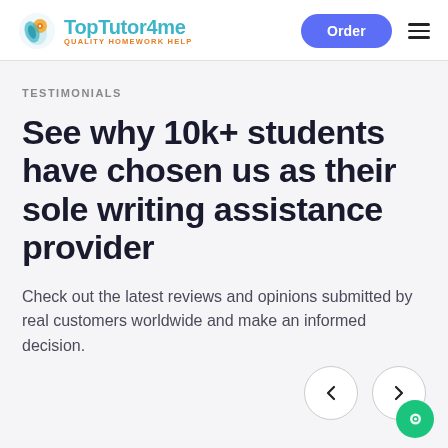TopTutor4me — QUALITY HOMEWORK HELP | Order | Navigation menu
TESTIMONIALS
See why 10k+ students have chosen us as their sole writing assistance provider
Check out the latest reviews and opinions submitted by real customers worldwide and make an informed decision.